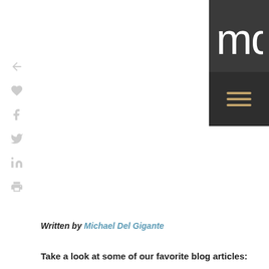[Figure (logo): MDG logo block - dark grey background with white letters 'mdg' and hamburger menu icon below]
Written by Michael Del Gigante
Take a look at some of our favorite blog articles:
Social Media is Good Medicine for Healthcare Marketing
Google Outlines Three Online Advertising Trends
Print Advertising is Dead? Not So Fast.
5 Messaging Strategies of Successful Branding Firms
Study Shows Organic SEO Significantly